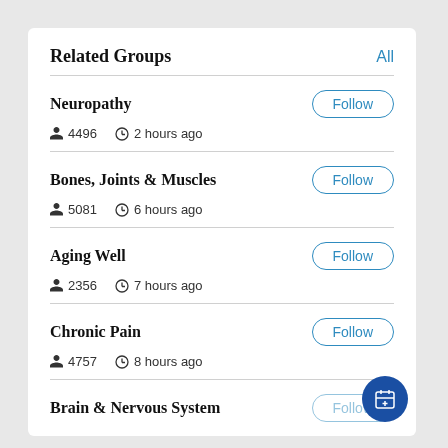Related Groups
Neuropathy — 4496 members, 2 hours ago
Bones, Joints & Muscles — 5081 members, 6 hours ago
Aging Well — 2356 members, 7 hours ago
Chronic Pain — 4757 members, 8 hours ago
Brain & Nervous System — (partial)